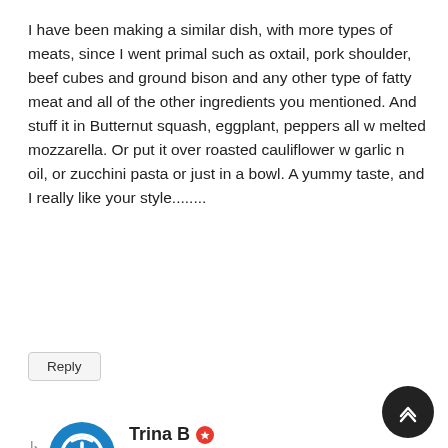I have been making a similar dish, with more types of meats, since I went primal such as oxtail, pork shoulder, beef cubes and ground bison and any other type of fatty meat and all of the other ingredients you mentioned. And stuff it in Butternut squash, eggplant, peppers all w melted mozzarella. Or put it over roasted cauliflower w garlic n oil, or zucchini pasta or just in a bowl. A yummy taste, and I really like your style........
Reply
Trina B
January 20, 2014 5:50 pm
Hi Michael, thanks for your comment! All of your ideas sound yummy! I'm coming to your house